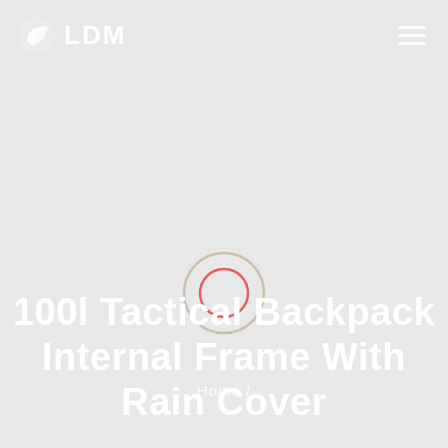LDM
[Figure (logo): LDM logo with white bird/leaf icon and white text 'LDM' on light gray background, plus hamburger menu icon top right]
[Figure (other): Circular target/crosshair graphic with outer tan/beige ring and inner red circle outline, centered on page]
100l Tactical Backpack Internal Frame With Rain Cover
Home /